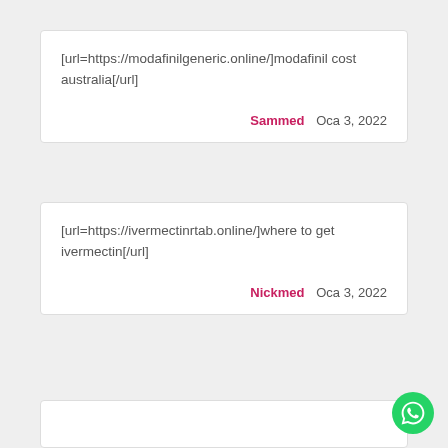[url=https://modafinilgeneric.online/]modafinil cost australia[/url]
Sammed   Oca 3, 2022
[url=https://ivermectinrtab.online/]where to get ivermectin[/url]
Nickmed   Oca 3, 2022